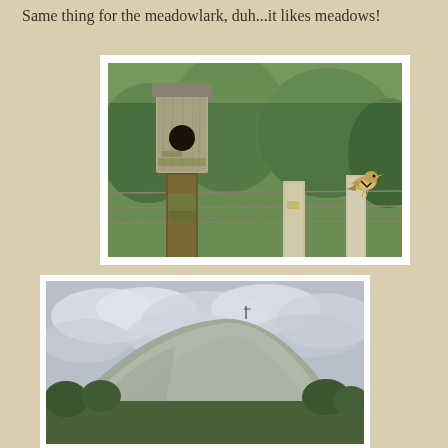Same thing for the meadowlark, duh...it likes meadows!
[Figure (photo): A weathered wooden birdhouse on a post, with a small bird (meadowlark) perched on a fence post to the right, green trees in the background.]
[Figure (photo): A large grey hill or slag heap with cloudy sky above, green trees at the base.]